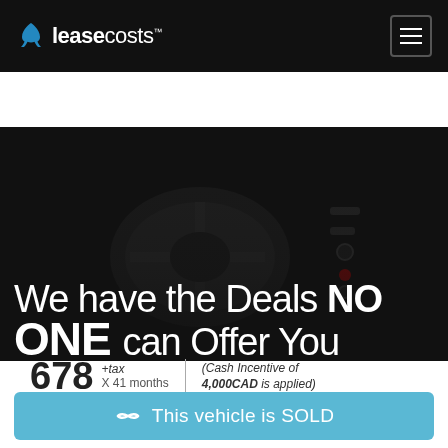leasecosts™
[Figure (photo): Dark car interior showing steering wheel and dashboard controls]
We have the Deals NO ONE can Offer You
678 +tax X 41 months | (Cash Incentive of 4,000CAD is applied)
This vehicle is SOLD